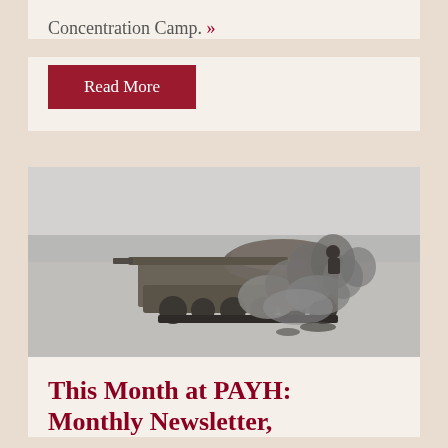Concentration Camp. »
Read More
[Figure (photo): Black and white photograph of a WWII-era tank (T-34) moving across a beach or open flat ground with large plumes of dark smoke billowing from it; a soldier figure is visible on top of the tank.]
This Month at PAYH: Monthly Newsletter,